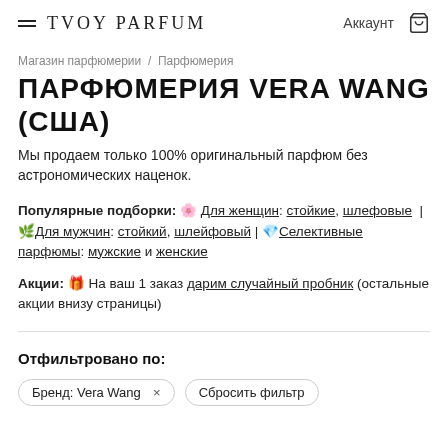≡ TVOY PARFUM  Аккаунт 🛍
Магазин парфюмерии / Парфюмерия
ПАРФЮМЕРИЯ VERA WANG (США)
Мы продаем только 100% оригинальный парфюм без астрономических наценок.
Популярные подборки: 🌸 Для женщин: стойкие, шлефовые | 🌿Для мужчин: стойкий, шлейфовый | 💎Селективные парфюмы: мужские и женские
Акции: 🎁 На ваш 1 заказ дарим случайный пробник (остальные акции внизу страницы)
Отфильтровано по:
Бренд: Vera Wang ×   Сбросить фильтр